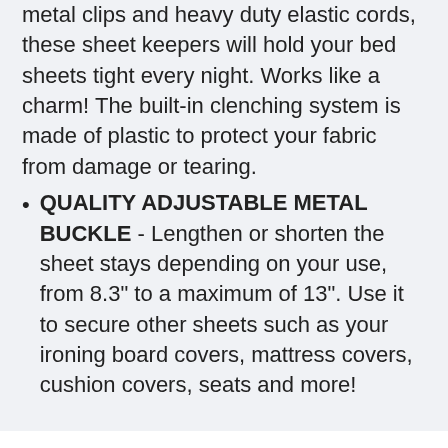metal clips and heavy duty elastic cords, these sheet keepers will hold your bed sheets tight every night. Works like a charm! The built-in clenching system is made of plastic to protect your fabric from damage or tearing.
QUALITY ADJUSTABLE METAL BUCKLE - Lengthen or shorten the sheet stays depending on your use, from 8.3" to a maximum of 13". Use it to secure other sheets such as your ironing board covers, mattress covers, cushion covers, seats and more!
6   Piper Classics Market Place Gray Ticking Stripe Quilt, Luxury King, 105" L x 120" W, Oversized,